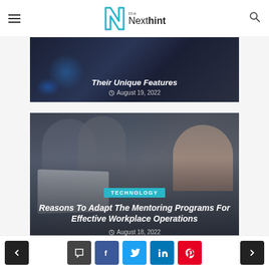The Next Hint - website header with navigation
[Figure (screenshot): Dark tech-themed article card with title 'Their Unique Features' and date August 19, 2022]
[Figure (photo): Business people collaborating at a laptop, article card overlay with TECHNOLOGY badge, title 'Reasons To Adapt The Mentoring Programs For Effective Workplace Operations', date August 18, 2022]
Navigation and social share buttons: previous, comment, facebook, twitter, linkedin, pinterest, next